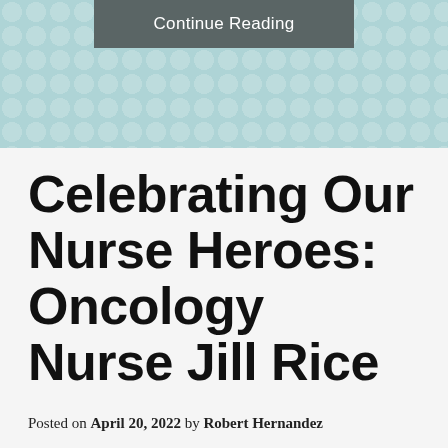[Figure (other): Light teal/blue patterned background section with a dark gray 'Continue Reading' button at the top]
Celebrating Our Nurse Heroes: Oncology Nurse Jill Rice
Posted on April 20, 2022 by Robert Hernandez